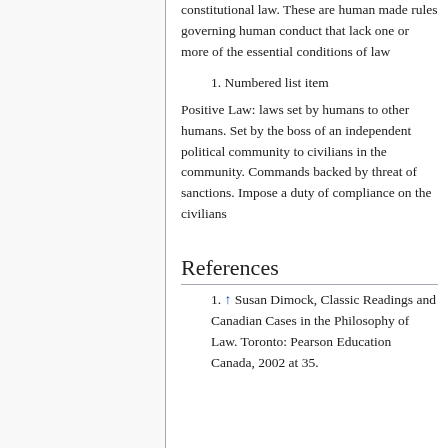constitutional law. These are human made rules governing human conduct that lack one or more of the essential conditions of law
1. Numbered list item
Positive Law: laws set by humans to other humans. Set by the boss of an independent political community to civilians in the community. Commands backed by threat of sanctions. Impose a duty of compliance on the civilians
References
1. ↑ Susan Dimock, Classic Readings and Canadian Cases in the Philosophy of Law. Toronto: Pearson Education Canada, 2002 at 35.